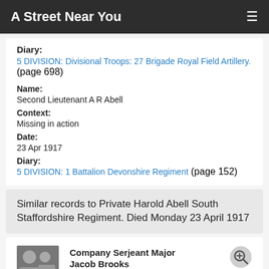A Street Near You
Diary:
5 DIVISION: Divisional Troops: 27 Brigade Royal Field Artillery. (page 698)
Name: Second Lieutenant A R Abell
Context: Missing in action
Date: 23 Apr 1917
Diary:
5 DIVISION: 1 Battalion Devonshire Regiment (page 152)
Similar records to Private Harold Abell South Staffordshire Regiment. Died Monday 23 April 1917
Company Serjeant Major Jacob Brooks